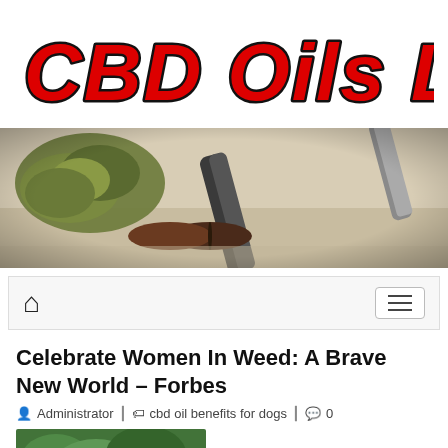[Figure (logo): CBD Oils Legal logo in red italic chunky text with black outline]
[Figure (photo): Close-up photo of cannabis bud, vape pen, and capsule pill on a wooden surface]
[Figure (screenshot): Navigation bar with home icon and hamburger menu button]
Celebrate Women In Weed: A Brave New World – Forbes
Administrator   cbd oil benefits for dogs   0
[Figure (photo): Partial photo of outdoor greenery/cannabis plant at bottom of page]